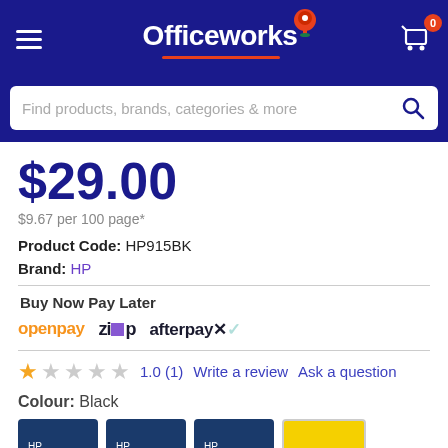[Figure (screenshot): Officeworks website header with logo, hamburger menu, cart icon with 0 badge]
Find products, brands, categories & more
$29.00
$9.67 per 100 page*
Product Code: HP915BK
Brand: HP
Buy Now Pay Later
[Figure (logo): openpay, zip, afterpay payment logos]
1.0 (1) Write a review Ask a question
Colour: Black
[Figure (photo): Product colour swatches - four thumbnail images of HP ink cartridges in black and yellow variants]